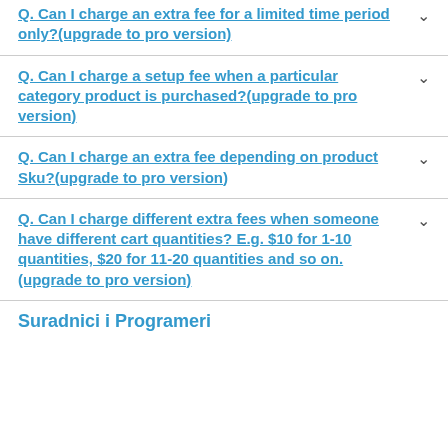Q. Can I charge an extra fee for a limited time period only?(upgrade to pro version)
Q. Can I charge a setup fee when a particular category product is purchased?(upgrade to pro version)
Q. Can I charge an extra fee depending on product Sku?(upgrade to pro version)
Q. Can I charge different extra fees when someone have different cart quantities? E.g. $10 for 1-10 quantities, $20 for 11-20 quantities and so on.(upgrade to pro version)
Suradnici i Programeri